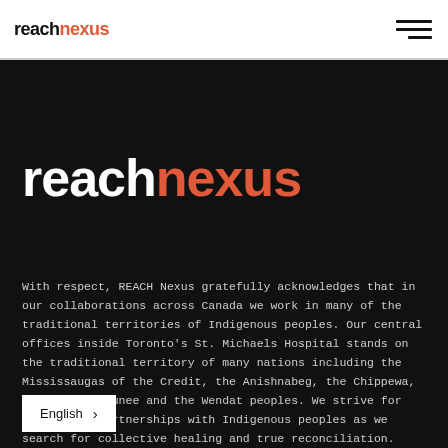reachnexus (logo) | hamburger menu
[Figure (logo): reachnexus logo large white and orange on black background]
With respect, REACH Nexus gratefully acknowledges that in our collaborations across Canada we work in many of the traditional territories of Indigenous peoples. Our central offices inside Toronto's St. Michaels Hospital stands on the traditional territory of many nations including the Mississaugas of the Credit, the Anishnabeg, the Chippewa, the Haudenosaunee and the Wendat peoples. We strive for respectful partnerships with Indigenous peoples as we search for collective healing and true reconciliation.
English >